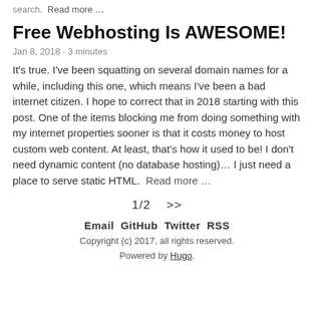search.  Read more …
Free Webhosting Is AWESOME!
Jan 8, 2018 · 3 minutes
It's true. I've been squatting on several domain names for a while, including this one, which means I've been a bad internet citizen. I hope to correct that in 2018 starting with this post. One of the items blocking me from doing something with my internet properties sooner is that it costs money to host custom web content. At least, that's how it used to be! I don't need dynamic content (no database hosting)… I just need a place to serve static HTML.  Read more …
1/2   >>
Email  GitHub  Twitter  RSS
Copyright (c) 2017, all rights reserved.
Powered by Hugo.